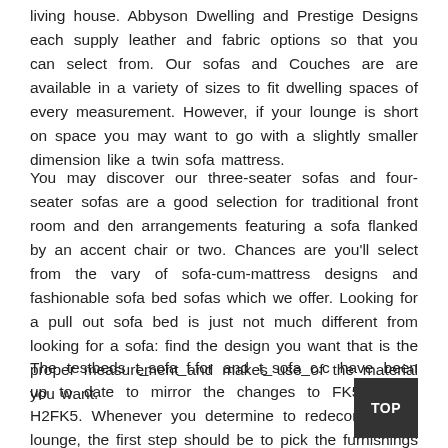living house. Abbyson Dwelling and Prestige Designs each supply leather and fabric options so that you can select from. Our sofas and Couches are are available in a variety of sizes to fit dwelling spaces of every measurement. However, if your lounge is short on space you may want to go with a slightly smaller dimension like a twin sofa mattress.
You may discover our three-seater sofas and four-seater sofas are a good selection for traditional front room and den arrangements featuring a sofa flanked by an accent chair or two. Chances are you'll select from the vary of sofa-cum-mattress designs and fashionable sofa bed sofas which we offer. Looking for a pull out sofa bed is just not much different from looking for a sofa: find the design you want that is the proper measurement and makes use of the material you want.
The testbeds t_sofa_f.for and t_sofa_c.c have been up to date to mirror the changes to FK52H and H2FK5. Whenever you determine to redecorate your lounge, the first step should be to pick the furnishings you want to construct the design round since buying living room